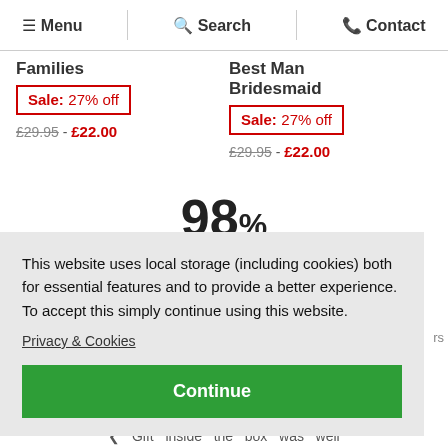Menu | Search | Contact
Families
Sale: 27% off
£29.95 - £22.00
Best Man Bridesmaid
Sale: 27% off
£29.95 - £22.00
98%
Recommended
This website uses local storage (including cookies) both for essential features and to provide a better experience. To accept this simply continue using this website.
Privacy & Cookies
Continue
And
Gift inside the box was well